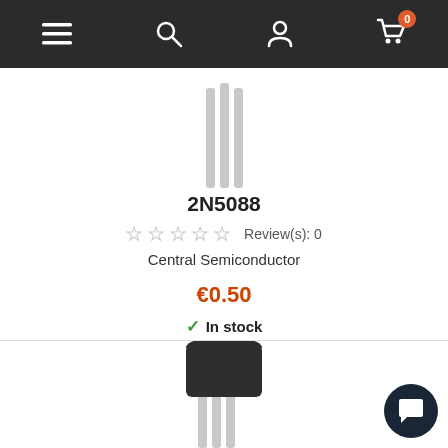Navigation bar with menu, search, account, and cart (0 items)
[Figure (photo): 3D render of a TO-92 transistor component (2N5088) with three silver leads, top portion visible]
2N5088
☆☆☆☆☆ Review(s): 0
Central Semiconductor
€0.50
✓ In stock
[Figure (photo): 3D render of a TO-92 transistor component with dark body and three silver leads]